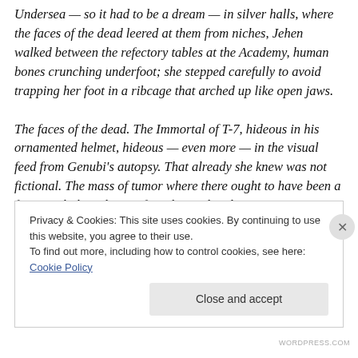Undersea — so it had to be a dream — in silver halls, where the faces of the dead leered at them from niches, Jehen walked between the refectory tables at the Academy, human bones crunching underfoot; she stepped carefully to avoid trapping her foot in a ribcage that arched up like open jaws.

The faces of the dead. The Immortal of T-7, hideous in his ornamented helmet, hideous — even more — in the visual feed from Genubi's autopsy. That already she knew was not fictional. The mass of tumor where there ought to have been a face, might have been a face, knotted and
Privacy & Cookies: This site uses cookies. By continuing to use this website, you agree to their use.
To find out more, including how to control cookies, see here: Cookie Policy
Close and accept